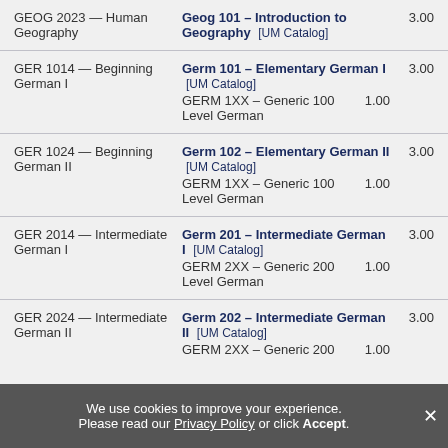| Course | Equivalent | Credits |
| --- | --- | --- |
| GEOG 2023 — Human Geography | Geog 101 – Introduction to Geography [UM Catalog] | 3.00 |
| GER 1014 — Beginning German I | Germ 101 – Elementary German I [UM Catalog]
GERM 1XX – Generic 100 Level German | 3.00
1.00 |
| GER 1024 — Beginning German II | Germ 102 – Elementary German II [UM Catalog]
GERM 1XX – Generic 100 Level German | 3.00
1.00 |
| GER 2014 — Intermediate German I | Germ 201 – Intermediate German I [UM Catalog]
GERM 2XX – Generic 200 Level German | 3.00
1.00 |
| GER 2024 — Intermediate German II | Germ 202 – Intermediate German II [UM Catalog]
GERM 2XX – Generic 200 | 3.00
1.00 |
We use cookies to improve your experience. Please read our Privacy Policy or click Accept.